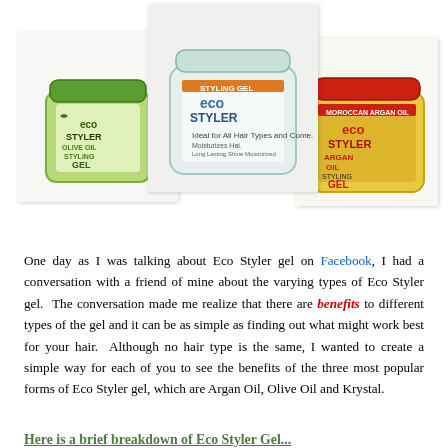[Figure (photo): Three Eco Styler gel product jars: left is Olive Oil Styling Gel (green lid), center is Krystal Styling Gel (clear/transparent), right is Argan Oil Styling Gel (red lid, yellow jar)]
One day as I was talking about Eco Styler gel on Facebook, I had a conversation with a friend of mine about the varying types of Eco Styler gel. The conversation made me realize that there are benefits to different types of the gel and it can be as simple as finding out what might work best for your hair. Although no hair type is the same, I wanted to create a simple way for each of you to see the benefits of the three most popular forms of Eco Styler gel, which are Argan Oil, Olive Oil and Krystal.
Here is a brief breakdown of Eco Styler Gel...